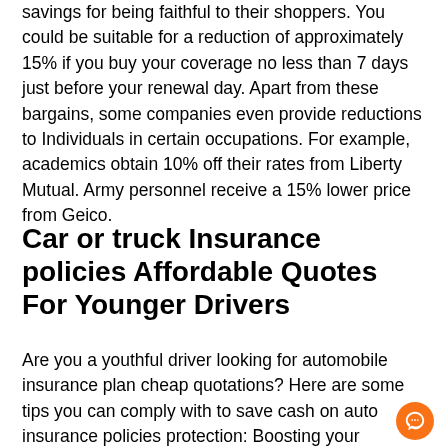savings for being faithful to their shoppers. You could be suitable for a reduction of approximately 15% if you buy your coverage no less than 7 days just before your renewal day. Apart from these bargains, some companies even provide reductions to Individuals in certain occupations. For example, academics obtain 10% off their rates from Liberty Mutual. Army personnel receive a 15% lower price from Geico.
Car or truck Insurance policies Affordable Quotes For Younger Drivers
Are you a youthful driver looking for automobile insurance plan cheap quotations? Here are some tips you can comply with to save cash on auto insurance policies protection: Boosting your deductibles, getting a no claims discount and getting a policy by using a regional insurance company. The